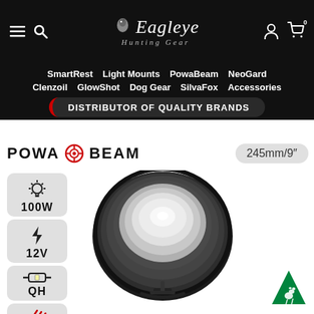Eagleye Hunting Gear
SmartRest  Light Mounts  PowaBeam  NeoGard  Clenzoil  GlowShot  Dog Gear  SilvaFox  Accessories
DISTRIBUTOR OF QUALITY BRANDS
[Figure (photo): PowaBeam 245mm/9 inch hunting spotlight, 100W 12V QH lamp with clips, shown mounted on bracket, silver/grey reflector dish with black rubber rim]
POWA BEAM  245mm/9"  100W  12V  QH  Clips